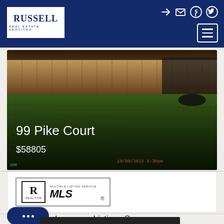Russell Real Estate Services – Navigation header with logo and icons
[Figure (photo): Outdoor property photo showing a green lawn with a wooden fence in the background. Overlaid text shows property address '99 Pike Court' and price '$58805'. A timestamp watermark is visible at bottom right.]
99 Pike Court
$58805
[Figure (logo): REALTOR MLS logo – official Realtor and Multiple Listing Service combined logo badge]
Lagrange Listings Summary